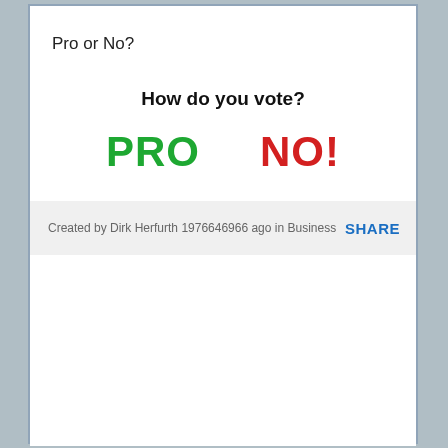Pro or No?
How do you vote?
[Figure (other): Two large voting buttons: PRO in green and NO! in red]
Created by Dirk Herfurth 1976646966 ago in Business
SHARE